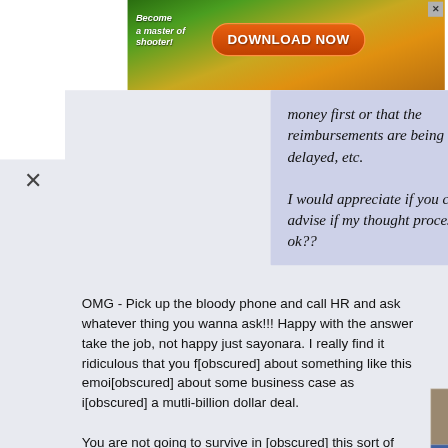[Figure (screenshot): Advertisement banner at top: orange/brown background with 'Become a master of shooter!' text on left, orange 'DOWNLOAD NOW' button in center, cartoon characters/game imagery, X close button top right]
money first or that the reimbursements are being delayed, etc.

I would appreciate if you can advise if my thought process is ok??
OMG - Pick up the bloody phone and call HR and ask whatever thing you wanna ask!!! Happy with the answer take the job, not happy just sayonara. I really find it ridiculous that you [obscured] about something like this emoi[obscured] about some business case as i[obscured] a mutli-billion dollar deal.

You are not going to survive in [obscured] this sort of mentality. Successfu[obscured] bold, confident, go-getter and u[obscured] rejection. So far, you are displaying all the opposite traits.

Either wise up and change your behavior or go look
[Figure (screenshot): Side advertisement showing product images from Made-in-China.com: chair ($5,700), shoes ($11.85), sneakers ($14.x), theater seats ($30), woman with sunglasses ($3.6x), other products]